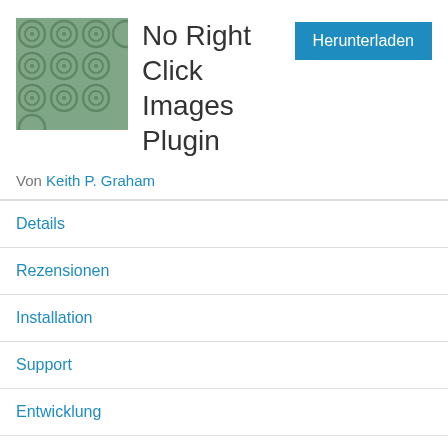[Figure (illustration): Plugin icon showing a green/sage colored square with a circular pattern design]
No Right Click Images Plugin
Von Keith P. Graham
Details
Rezensionen
Installation
Support
Entwicklung
Beschreibung